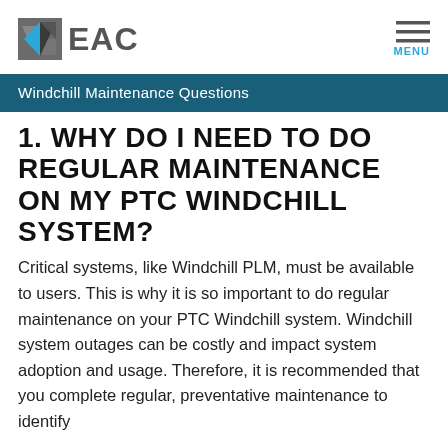[Figure (logo): EAC logo with stylized blue and grey geometric icon and 'EAC' text in grey]
Windchill Maintenance Questions
1. WHY DO I NEED TO DO REGULAR MAINTENANCE ON MY PTC WINDCHILL SYSTEM?
Critical systems, like Windchill PLM, must be available to users. This is why it is so important to do regular maintenance on your PTC Windchill system. Windchill system outages can be costly and impact system adoption and usage. Therefore, it is recommended that you complete regular, preventative maintenance to identify